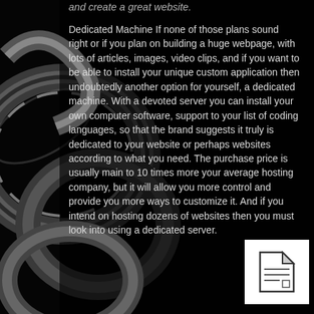and create a great website.
Dedicated Machine If none of those plans sound right or if you plan on building a huge webpage, with lots of articles, images, video clips, and if you want to be able to install your unique custom application then undoubtedly another option for yourself, a dedicated machine. With a devoted server you can install your own computer software, support to your list of coding languages, so that the brand suggests it truly is dedicated to your website or perhaps websites according to what you need. The purchase price is usually main to 10 times more your average hosting company, but it will allow you more control and provide you more ways to customize it. And if you intend on hosting dozens of websites then you must look into using a dedicated server.
[Figure (illustration): Document/file icon shown in a white square box in the bottom right corner of the page]